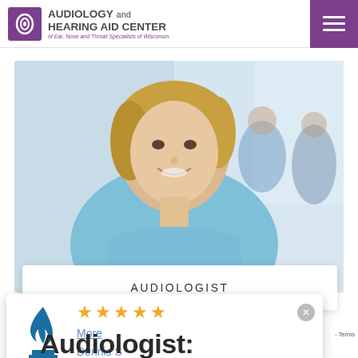AUDIOLOGY and HEARING AID CENTER of Ear, Nose and Throat Specialists of Wisconsin
[Figure (photo): Smiling blonde female healthcare professional in blue scrubs in foreground, with blurred medical staff in background]
AUDIOLOGIST
[Figure (infographic): BBB popup overlay showing 5 gold stars, a 'More' link, and reviewer name 'Dennis S' with BBB flame logo on the left and an X close button]
Audiologist: